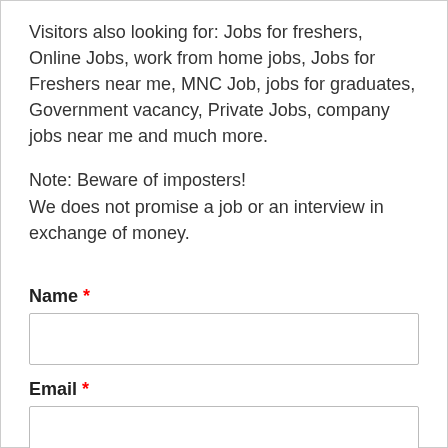Visitors also looking for: Jobs for freshers, Online Jobs, work from home jobs, Jobs for Freshers near me, MNC Job, jobs for graduates, Government vacancy, Private Jobs, company jobs near me and much more.
Note: Beware of imposters!
We does not promise a job or an interview in exchange of money.
Name *
Email *
Numbers